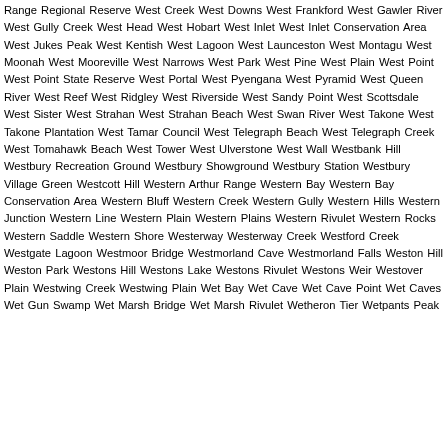Range Regional Reserve West Creek West Downs West Frankford West Gawler River West Gully Creek West Head West Hobart West Inlet West Inlet Conservation Area West Jukes Peak West Kentish West Lagoon West Launceston West Montagu West Moonah West Mooreville West Narrows West Park West Pine West Plain West Point West Point State Reserve West Portal West Pyengana West Pyramid West Queen River West Reef West Ridgley West Riverside West Sandy Point West Scottsdale West Sister West Strahan West Strahan Beach West Swan River West Takone West Takone Plantation West Tamar Council West Telegraph Beach West Telegraph Creek West Tomahawk Beach West Tower West Ulverstone West Wall Westbank Hill Westbury Recreation Ground Westbury Showground Westbury Station Westbury Village Green Westcott Hill Western Arthur Range Western Bay Western Bay Conservation Area Western Bluff Western Creek Western Gully Western Hills Western Junction Western Line Western Plain Western Plains Western Rivulet Western Rocks Western Saddle Western Shore Westerway Westerway Creek Westford Creek Westgate Lagoon Westmoor Bridge Westmorland Cave Westmorland Falls Weston Hill Weston Park Westons Hill Westons Lake Westons Rivulet Westons Weir Westover Plain Westwing Creek Westwing Plain Wet Bay Wet Cave Wet Cave Point Wet Caves Wet Gun Swamp Wet Marsh Bridge Wet Marsh Rivulet Wetheron Tier Wetpants Peak